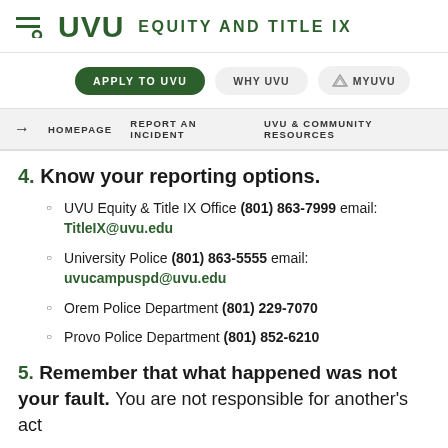UVU EQUITY AND TITLE IX
APPLY TO UVU | WHY UVU | MYUVU
HOMEPAGE | REPORT AN INCIDENT | UVU & COMMUNITY RESOURCES
4. Know your reporting options.
UVU Equity & Title IX Office (801) 863-7999 email: TitleIX@uvu.edu
University Police (801) 863-5555 email: uvucampuspd@uvu.edu
Orem Police Department (801) 229-7070
Provo Police Department (801) 852-6210
5. Remember that what happened was not your fault. You are not responsible for another's act